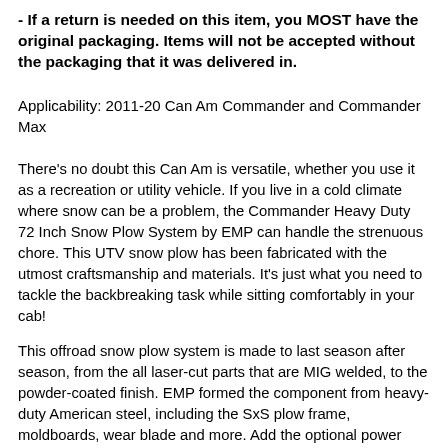- If a return is needed on this item, you MOST have the original packaging. Items will not be accepted without the packaging that it was delivered in.
Applicability: 2011-20 Can Am Commander and Commander Max
There's no doubt this Can Am is versatile, whether you use it as a recreation or utility vehicle. If you live in a cold climate where snow can be a problem, the Commander Heavy Duty 72 Inch Snow Plow System by EMP can handle the strenuous chore. This UTV snow plow has been fabricated with the utmost craftsmanship and materials. It's just what you need to tackle the backbreaking task while sitting comfortably in your cab!
This offroad snow plow system is made to last season after season, from the all laser-cut parts that are MIG welded, to the powder-coated finish. EMP formed the component from heavy-duty American steel, including the SxS plow frame, moldboards, wear blade and more. Add the optional power angle package, and you'll have full operating control from inside your cab. Between the easy attachment and removal, along with the durable construction, you can't go wrong with